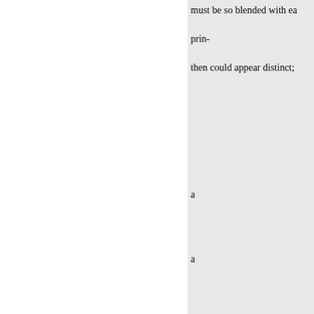must be so blended with ea
prin-
then could appear distinct;
a
a
R2
Percolation PERCOLATION, a c herbs or Pe 11 the same with FIL
leaves, as lavender, marjoram, sa
PERCUSSION, in Mechanics, th makes in falling or striking upon shock of two bodies in motion. S MECHANICS.
Moses perfumes must have be he speaks of the art of the perfum position of two kinds of perfume which one was to be offered to th